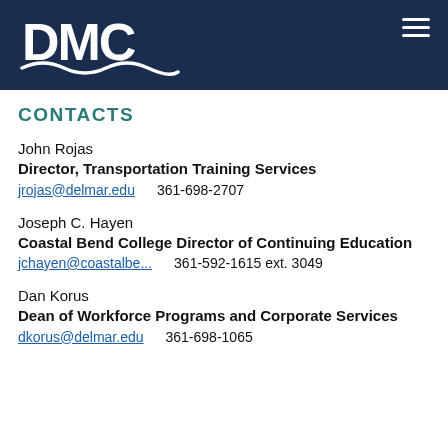[Figure (logo): DMC logo with wave graphic on dark navy blue header background]
CONTACTS
John Rojas
Director, Transportation Training Services
jrojas@delmar.edu   361-698-2707
Joseph C. Hayen
Coastal Bend College Director of Continuing Education
jchayen@coastalbe...   361-592-1615 ext. 3049
Dan Korus
Dean of Workforce Programs and Corporate Services
dkorus@delmar.edu   361-698-1065